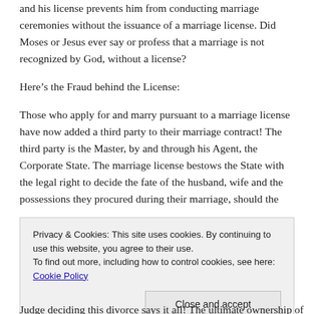and his license prevents him from conducting marriage ceremonies without the issuance of a marriage license. Did Moses or Jesus ever say or profess that a marriage is not recognized by God, without a license?
Here’s the Fraud behind the License:
Those who apply for and marry pursuant to a marriage license have now added a third party to their marriage contract! The third party is the Master, by and through his Agent, the Corporate State. The marriage license bestows the State with the legal right to decide the fate of the husband, wife and the possessions they procured during their marriage, should the
Privacy & Cookies: This site uses cookies. By continuing to use this website, you agree to their use.
To find out more, including how to control cookies, see here: Cookie Policy
Judge deciding this divorce says it all! The ultimate ownership of